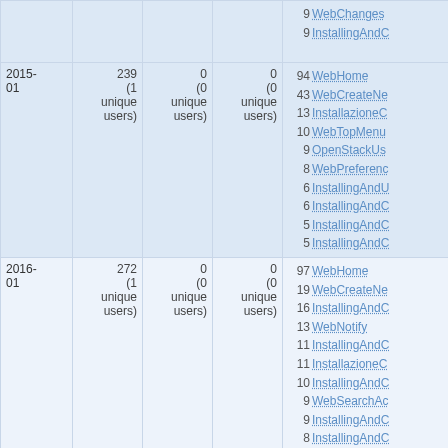| Date | Views | Edits | Attachments | Top pages |
| --- | --- | --- | --- | --- |
|  |  |  |  | 9 WebChanges
9 InstallingAndC |
| 2015-01 | 239
(1 unique users) | 0
(0 unique users) | 0
(0 unique users) | 94 WebHome
43 WebCreateNe
13 InstallazioneC
10 WebTopMenu
9 OpenStackUs
8 WebPreferenc
6 InstallingAndU
6 InstallingAndC
5 InstallingAndC
5 InstallingAndC |
| 2016-01 | 272
(1 unique users) | 0
(0 unique users) | 0
(0 unique users) | 97 WebHome
19 WebCreateNe
16 InstallingAndC
13 WebNotify
11 InstallingAndC
11 InstallazioneC
10 InstallingAndC
9 WebSearchAc
9 InstallingAndC
8 InstallingAndC |
| 2012- | 0 | 0 | 0 |  |